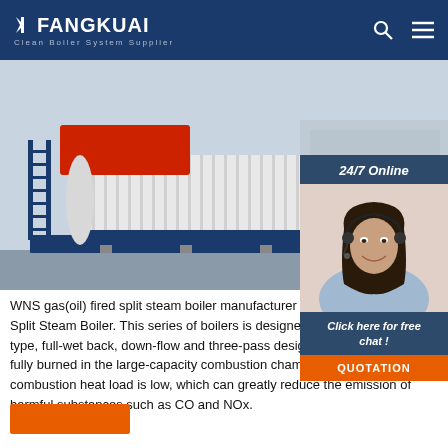FANGKUAI – Clean Boiler System Supplier
[Figure (photo): Industrial WNS gas/oil fired split steam boiler unit with blue and white casing, elevated on a platform with stairs, industrial facility background.]
[Figure (photo): Customer service representative woman wearing a headset, smiling, with '24/7 Online' label above and 'Click here for free chat!' and 'QUOTATION' button below.]
WNS gas(oil) fired split steam boiler manufacturer - WNS Gas(oil) Fired Split Steam Boiler. This series of boilers is designed with a classic shell type, full-wet back, down-flow and three-pass design structure. The fuel is fully burned in the large-capacity combustion chamber, and the combustion heat load is low, which can greatly reduce the emission of harmful substances such as CO and NOx.